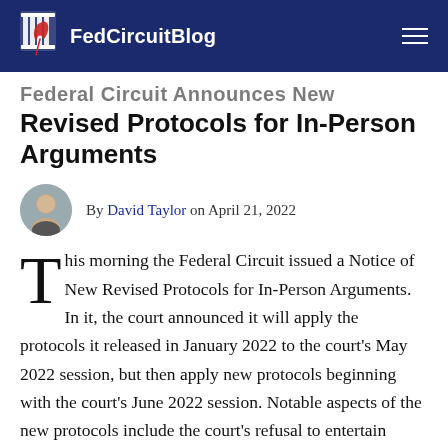FedCircuitBlog
Federal Circuit Announces New Revised Protocols for In-Person Arguments
By David Taylor on April 21, 2022
This morning the Federal Circuit issued a Notice of New Revised Protocols for In-Person Arguments. In it, the court announced it will apply the protocols it released in January 2022 to the court's May 2022 session, but then apply new protocols beginning with the court's June 2022 session. Notable aspects of the new protocols include the court's refusal to entertain motions expanding attendance beyond arguing counsel and one necessary attendee, a mask mandate, and a requirement of proof of negative COVID testing after arriving in the